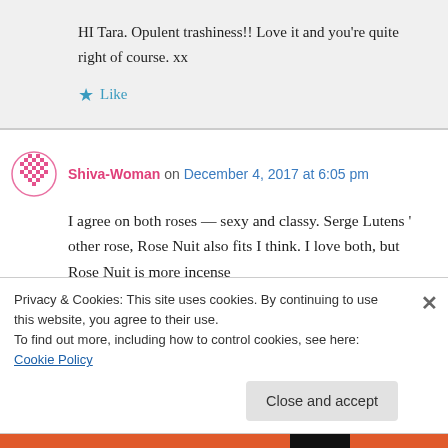HI Tara. Opulent trashiness!! Love it and you’re quite right of course. xx
★ Like
Shiva-Woman on December 4, 2017 at 6:05 pm
I agree on both roses — sexy and classy. Serge Lutens ‘ other rose, Rose Nuit also fits I think. I love both, but Rose Nuit is more incense
Privacy & Cookies: This site uses cookies. By continuing to use this website, you agree to their use.
To find out more, including how to control cookies, see here: Cookie Policy
Close and accept